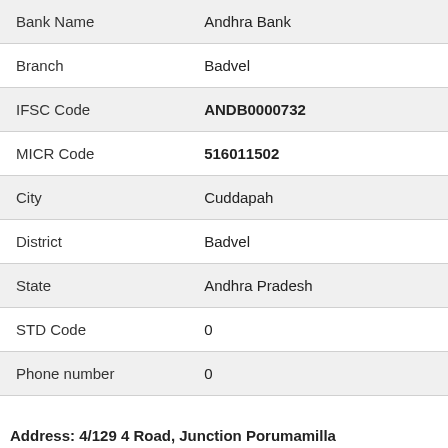| Field | Value |
| --- | --- |
| Bank Name | Andhra Bank |
| Branch | Badvel |
| IFSC Code | ANDB0000732 |
| MICR Code | 516011502 |
| City | Cuddapah |
| District | Badvel |
| State | Andhra Pradesh |
| STD Code | 0 |
| Phone number | 0 |
Address: 4/129 4 Road, Junction Porumamilla